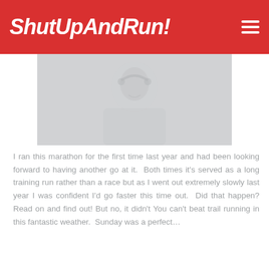ShutUpAndRun!
[Figure (photo): Faded/ghosted photo of a smiling person wearing a headset or earphones, appearing to be at a race or running event]
I ran this marathon for the first time last year and had been looking forward to having another go at it.  Both times it's served as a long training run rather than a race but as I went out extremely slowly last year I was confident I'd go faster this time out.  Did that happen? Read on and find out! But no, it didn't You can't beat trail running in this fantastic weather.  Sunday was a perfect…
#Marathon,  #Training,  #Trail Running,  #Saucony,  #Scenery